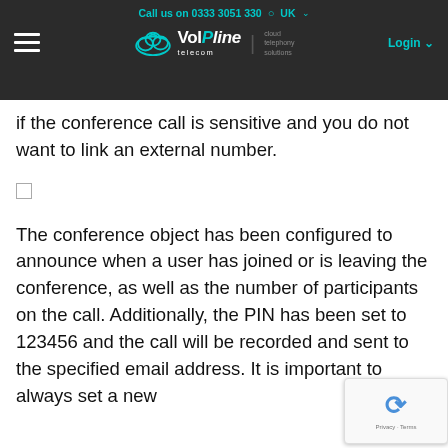Call us on 0333 3051 330 | UK | VoIPline telecom cloud telephony solutions | Login
if the conference call is sensitive and you do not want to link an external number.
The conference object has been configured to announce when a user has joined or is leaving the conference, as well as the number of participants on the call. Additionally, the PIN has been set to 123456 and the call will be recorded and sent to the specified email address. It is important to always set a new